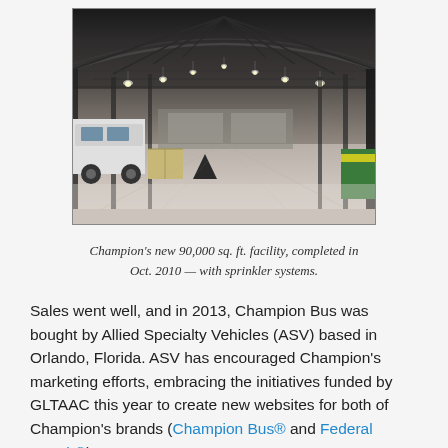[Figure (photo): Interior of a large industrial warehouse/manufacturing facility with high arched ceiling, steel roof trusses with hanging lights, polished concrete floor, a white bus or van on the left side, and storage items on the right.]
Champion's new 90,000 sq. ft. facility, completed in Oct. 2010 — with sprinkler systems.
Sales went well, and in 2013, Champion Bus was bought by Allied Specialty Vehicles (ASV) based in Orlando, Florida. ASV has encouraged Champion's marketing efforts, embracing the initiatives funded by GLTAAC this year to create new websites for both of Champion's brands (Champion Bus® and Federal Coach®).